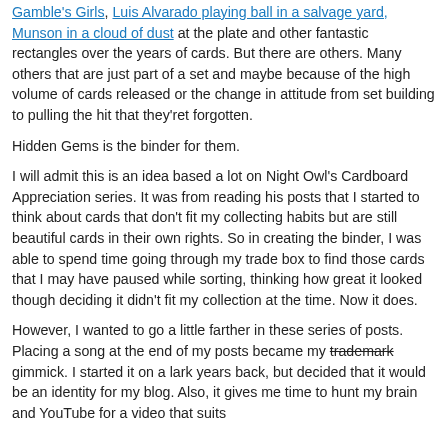Gamble's Girls, Luis Alvarado playing ball in a salvage yard, Munson in a cloud of dust at the plate and other fantastic rectangles over the years of cards. But there are others. Many others that are just part of a set and maybe because of the high volume of cards released or the change in attitude from set building to pulling the hit that they'ret forgotten.
Hidden Gems is the binder for them.
I will admit this is an idea based a lot on Night Owl's Cardboard Appreciation series. It was from reading his posts that I started to think about cards that don't fit my collecting habits but are still beautiful cards in their own rights. So in creating the binder, I was able to spend time going through my trade box to find those cards that I may have paused while sorting, thinking how great it looked though deciding it didn't fit my collection at the time. Now it does.
However, I wanted to go a little farther in these series of posts. Placing a song at the end of my posts became my trademark gimmick. I started it on a lark years back, but decided that it would be an identity for my blog. Also, it gives me time to hunt my brain and YouTube for a video that suits...